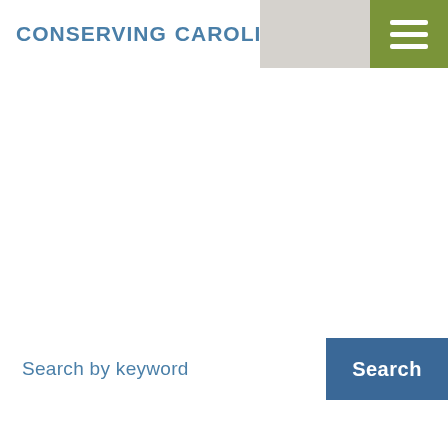[Figure (logo): Conserving Carolina logo with mountain/landscape icon between the two words]
[Figure (other): Hamburger menu icon (three white horizontal lines) on olive green background]
Search by keyword
Search